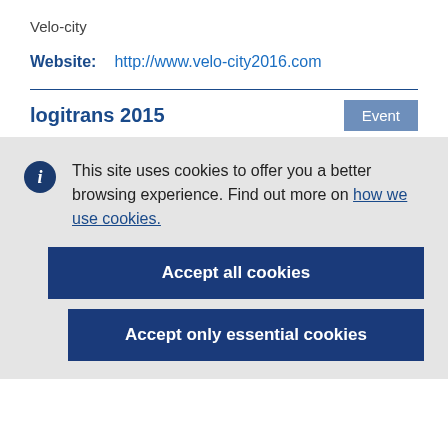Velo-city
Website:   http://www.velo-city2016.com
logitrans 2015
Event
This site uses cookies to offer you a better browsing experience. Find out more on how we use cookies.
Accept all cookies
Accept only essential cookies